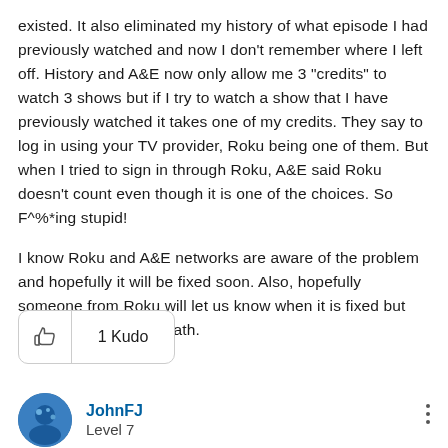existed. It also eliminated my history of what episode I had previously watched and now I don't remember where I left off. History and A&E now only allow me 3 "credits" to watch 3 shows but if I try to watch a show that I have previously watched it takes one of my credits. They say to log in using your TV provider, Roku being one of them. But when I tried to sign in through Roku, A&E said Roku doesn't count even though it is one of the choices. So F^%*ing stupid!
I know Roku and A&E networks are aware of the problem and hopefully it will be fixed soon. Also, hopefully someone from Roku will let us know when it is fixed but I'm not holding my breath.
[Figure (infographic): A rounded rectangle button showing a thumbs up icon on the left separated by a vertical line, and '1 Kudo' text on the right.]
JohnFJ
Level 7